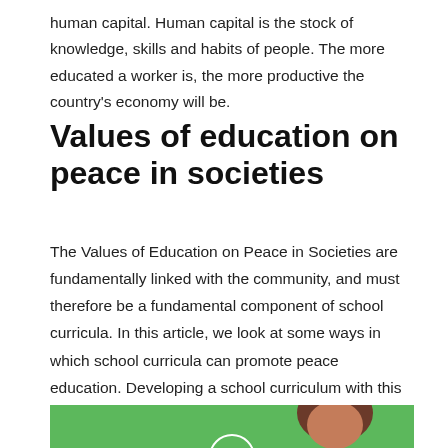human capital. Human capital is the stock of knowledge, skills and habits of people. The more educated a worker is, the more productive the country's economy will be.
Values of education on peace in societies
The Values of Education on Peace in Societies are fundamentally linked with the community, and must therefore be a fundamental component of school curricula. In this article, we look at some ways in which school curricula can promote peace education. Developing a school curriculum with this theme in mind requires a comprehensive approach, including the incorporation of the curriculum into other subjects. The following articles discuss some of the most important aspects of peace education.
[Figure (illustration): Green background illustration showing a person (cartoon figure with brown hair) and a circular icon, partially visible at the bottom of the page.]